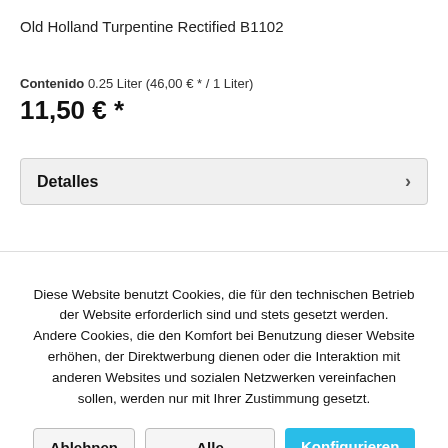Old Holland Turpentine Rectified B1102
Contenido 0.25 Liter (46,00 € * / 1 Liter)
11,50 € *
Detalles ›
Diese Website benutzt Cookies, die für den technischen Betrieb der Website erforderlich sind und stets gesetzt werden. Andere Cookies, die den Komfort bei Benutzung dieser Website erhöhen, der Direktwerbung dienen oder die Interaktion mit anderen Websites und sozialen Netzwerken vereinfachen sollen, werden nur mit Ihrer Zustimmung gesetzt.
Ablehnen
Alle akzeptieren
Konfigurieren